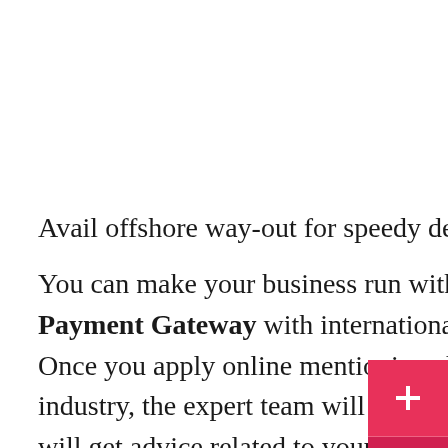Avail offshore way-out for speedy deals
You can make your business run with eCharge Payment Gateway with international solutions. Once you apply online mentioning about your industry, the expert team will contact you and you will get advice related to your corporate. Besides, the squad team will ask for your documents and once you send all the credentials, it is assessed and complete the processing leads. The processing